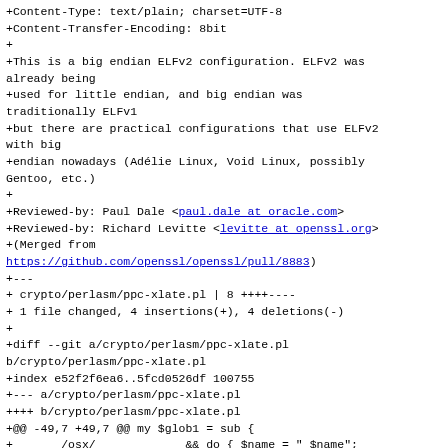+Content-Type: text/plain; charset=UTF-8
+Content-Transfer-Encoding: 8bit
+
+This is a big endian ELFv2 configuration. ELFv2 was already being
+used for little endian, and big endian was traditionally ELFv1
+but there are practical configurations that use ELFv2 with big
+endian nowadays (Adélie Linux, Void Linux, possibly Gentoo, etc.)
+
+Reviewed-by: Paul Dale <paul.dale at oracle.com>
+Reviewed-by: Richard Levitte <levitte at openssl.org>
+(Merged from
https://github.com/openssl/openssl/pull/8883)
+---
+ crypto/perlasm/ppc-xlate.pl | 8 ++++----
+ 1 file changed, 4 insertions(+), 4 deletions(-)
+
+diff --git a/crypto/perlasm/ppc-xlate.pl b/crypto/perlasm/ppc-xlate.pl
+index e52f2f6ea6..5fcd0526df 100755
+--- a/crypto/perlasm/ppc-xlate.pl
++++ b/crypto/perlasm/ppc-xlate.pl
+@@ -49,7 +49,7 @@ my $glob1 = sub {
++       /osx/             && do { $name = "_$name";
++                                last;
++                              };
++-      /linux.*(32|64le)/